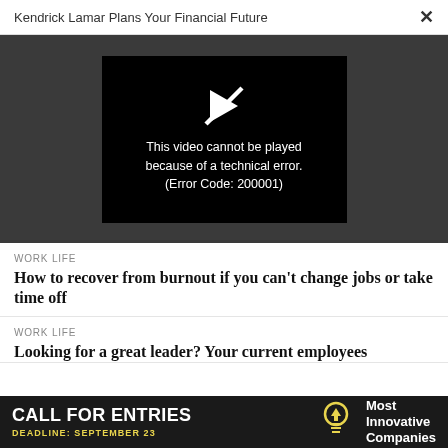Kendrick Lamar Plans Your Financial Future
[Figure (screenshot): Video player showing error message: 'This video cannot be played because of a technical error. (Error Code: 200001)' with a broken play icon on dark background]
WORK LIFE
How to recover from burnout if you can't change jobs or take time off
WORK LIFE
Looking for a great leader? Your current employees...
[Figure (infographic): Advertisement banner: CALL FOR ENTRIES, DEADLINE: SEPTEMBER 23, Most Innovative Companies, with lightbulb icon]